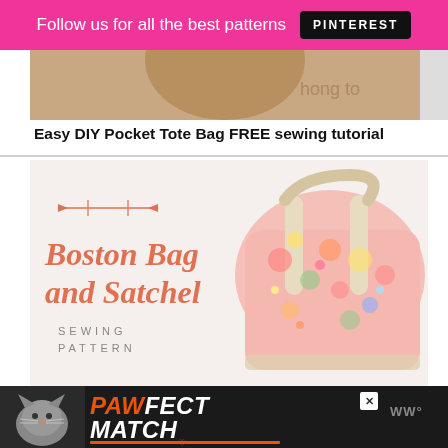Follow us for all the best patterns  PINTEREST
[Figure (photo): Partial top of a tote bag image, cropped]
Easy DIY Pocket Tote Bag FREE sewing tutorial
[Figure (photo): Boston Bag and Satchel sewing pattern promotional image showing a floral pink fabric bag with cream straps, with script text overlay reading 'Boston Bag and Satchel SEWING PATTERN' and decorative arrow graphic]
Boston Bag and Satchel sewing pattern
[Figure (photo): Advertisement banner: PAWFECT MATCH with cat image on dark background]